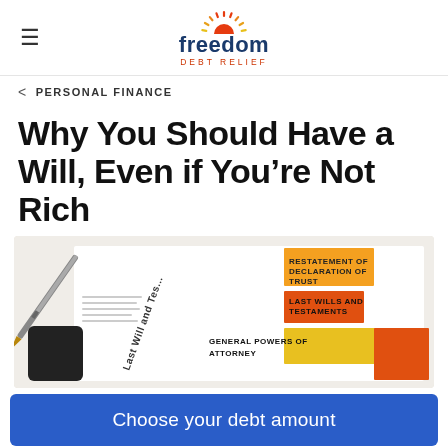freedom DEBT RELIEF
< PERSONAL FINANCE
Why You Should Have a Will, Even if You're Not Rich
[Figure (photo): Photo of legal documents including Last Will and Testament, Restatement of Declaration of Trust, Last Wills and Testaments, and General Powers of Attorney, with a pen on top]
Choose your debt amount
December 15, 2020